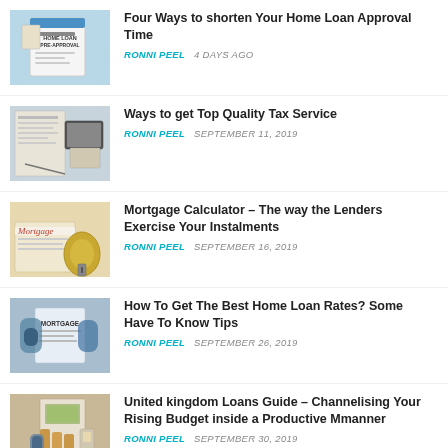[Figure (photo): Home loan pre-approval clipboard photo]
Four Ways to shorten Your Home Loan Approval Time
RONNI PEEL   4 DAYS AGO
[Figure (photo): Tax forms with calculator and pen]
Ways to get Top Quality Tax Service
RONNI PEEL   SEPTEMBER 11, 2019
[Figure (photo): Mortgage document with keys]
Mortgage Calculator – The way the Lenders Exercise Your Instalments
RONNI PEEL   SEPTEMBER 16, 2019
[Figure (photo): Person holding mortgage document]
How To Get The Best Home Loan Rates? Some Have To Know Tips
RONNI PEEL   SEPTEMBER 26, 2019
[Figure (photo): Person handling cash and documents]
United kingdom Loans Guide – Channelising Your Rising Budget inside a Productive Mmanner
RONNI PEEL   SEPTEMBER 30, 2019